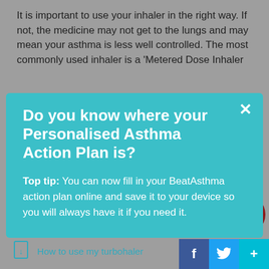It is important to use your inhaler in the right way. If not, the medicine may not get to the lungs and may mean your asthma is less well controlled. The most commonly used inhaler is a ‘Metered Dose Inhaler
Do you know where your Personalised Asthma Action Plan is?
Top tip: You can now fill in your BeatAsthma action plan online and save it to your device so you will always have it if you need it.
How to use my Easibreathe
How to use my Easyhaler
How to use my turbohaler